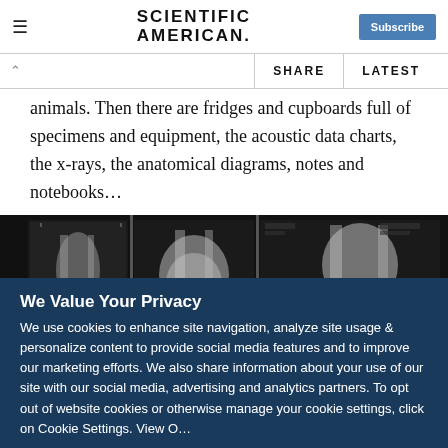SCIENTIFIC AMERICAN
animals. Then there are fridges and cupboards full of specimens and equipment, the acoustic data charts, the x-rays, the anatomical diagrams, notes and notebooks…
[Figure (photo): X-ray images of what appear to be animal or human limbs/joints displayed side by side on a light board, in black and white.]
We Value Your Privacy
We use cookies to enhance site navigation, analyze site usage & personalize content to provide social media features and to improve our marketing efforts. We also share information about your use of our site with our social media, advertising and analytics partners. To opt out of website cookies or otherwise manage your cookie settings, click on Cookie Settings. View O…